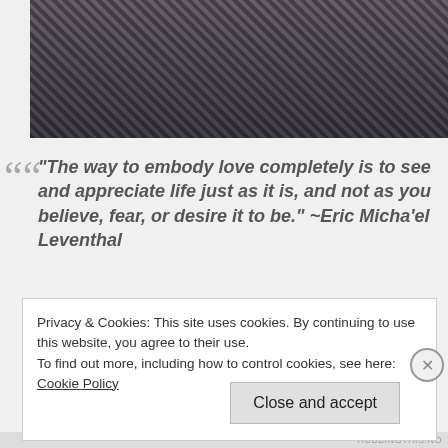[Figure (photo): A person wearing a checkered/gingham patterned dress or top, partially visible, dark background]
“The way to embody love completely is to see and appreciate life just as it is, and not as you believe, fear, or desire it to be.” ~Eric Micha’el Leventhal
Privacy & Cookies: This site uses cookies. By continuing to use this website, you agree to their use.
To find out more, including how to control cookies, see here: Cookie Policy
Close and accept